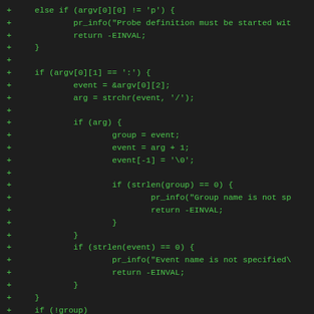[Figure (screenshot): Code diff snippet showing C code with green-colored added lines on dark background. Code shows conditional logic for probe definition parsing, including argv checks, event parsing, group name validation, and event name validation.]